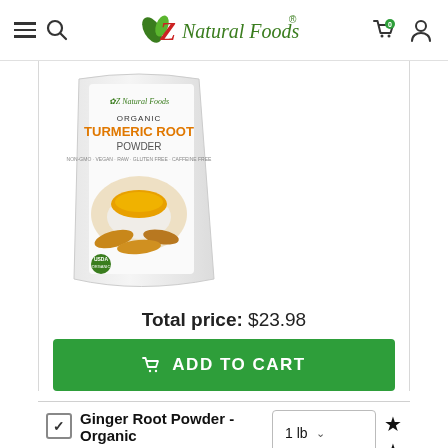Z Natural Foods
[Figure (photo): Product package of Z Natural Foods Organic Turmeric Root Powder, white standing pouch with orange product name text and image of a bowl of yellow turmeric powder with turmeric roots]
Total price: $23.98
ADD TO CART
Ginger Root Powder - Organic
1 lb
31 reviews
$13.99
[Figure (logo): TrustedSite CERTIFIED SECURE badge with green checkmark]